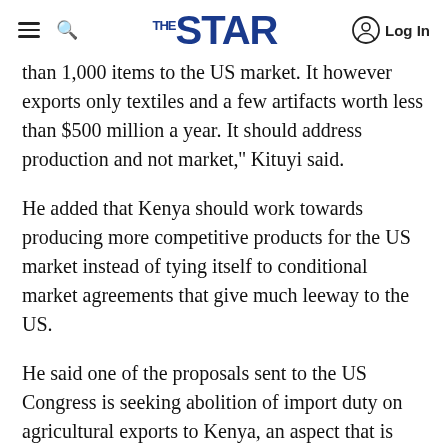THE STAR — Log In
than 1,000 items to the US market. It however exports only textiles and a few artifacts worth less than $500 million a year. It should address production and not market,'' Kituyi said.
He added that Kenya should work towards producing more competitive products for the US market instead of tying itself to conditional market agreements that give much leeway to the US.
He said one of the proposals sent to the US Congress is seeking abolition of import duty on agricultural exports to Kenya, an aspect that is likely to erode the local market.